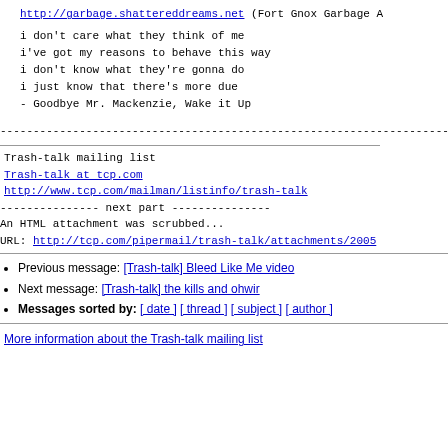http://garbage.shattereddreams.net (Fort Gnox Garbage A...
i don't care what they think of me
i've got my reasons to behave this way
i don't know what they're gonna do
i just know that there's more due
- Goodbye Mr. Mackenzie, Wake it Up
--------------------------------------------------------------------------------
Trash-talk mailing list
Trash-talk at tcp.com
http://www.tcp.com/mailman/listinfo/trash-talk
--------------- next part ---------------
An HTML attachment was scrubbed...
URL: http://tcp.com/pipermail/trash-talk/attachments/2005...
Previous message: [Trash-talk] Bleed Like Me video
Next message: [Trash-talk] the kills and ohwir
Messages sorted by: [ date ] [ thread ] [ subject ] [ author ]
More information about the Trash-talk mailing list